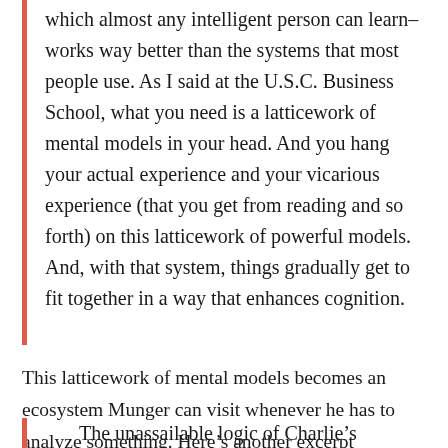which almost any intelligent person can learn–works way better than the systems that most people use. As I said at the U.S.C. Business School, what you need is a latticework of mental models in your head. And you hang your actual experience and your vicarious experience (that you get from reading and so forth) on this latticework of powerful models. And, with that system, things gradually get to fit together in a way that enhances cognition.
This latticework of mental models becomes an ecosystem Munger can visit whenever he has to analyze something. Here's another excerpt expanding upon this idea (page 55):
The unassailable logic of Charlie's